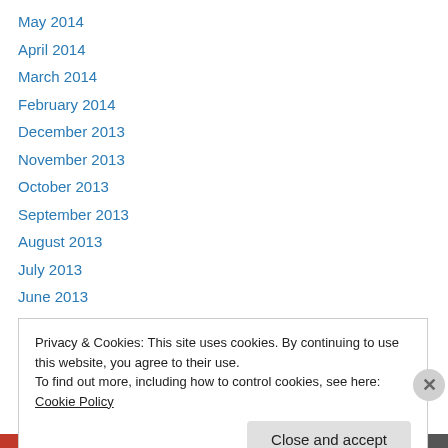May 2014
April 2014
March 2014
February 2014
December 2013
November 2013
October 2013
September 2013
August 2013
July 2013
June 2013
May 2013
April 2013
Privacy & Cookies: This site uses cookies. By continuing to use this website, you agree to their use.
To find out more, including how to control cookies, see here: Cookie Policy
Close and accept